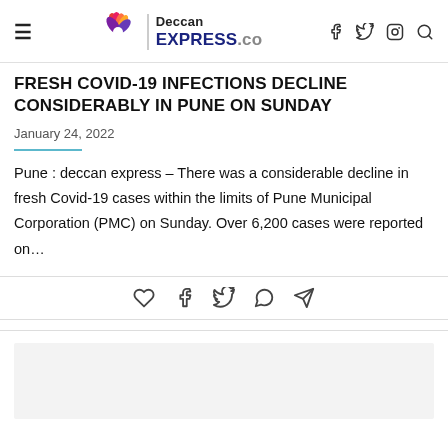Deccan EXPRESS.co
FRESH COVID-19 INFECTIONS DECLINE CONSIDERABLY IN PUNE ON SUNDAY
January 24, 2022
Pune : deccan express – There was a considerable decline in fresh Covid-19 cases within the limits of Pune Municipal Corporation (PMC) on Sunday. Over 6,200 cases were reported on…
[Figure (other): Social sharing icons row: heart (like), Facebook, Twitter, WhatsApp, Telegram]
[Figure (other): Advertisement placeholder gray box at bottom of page]